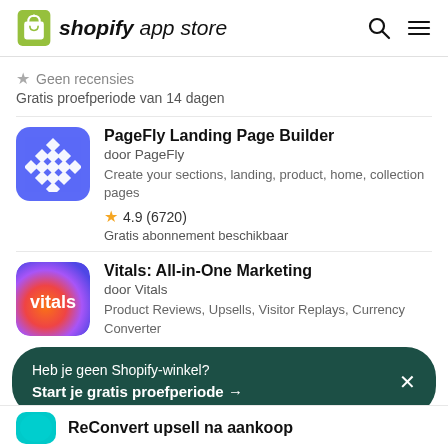shopify app store
★ Geen recensies
Gratis proefperiode van 14 dagen
PageFly Landing Page Builder
door PageFly
Create your sections, landing, product, home, collection pages
4.9 (6720)
Gratis abonnement beschikbaar
Vitals: All-in-One Marketing
door Vitals
Product Reviews, Upsells, Visitor Replays, Currency Converter
Heb je geen Shopify-winkel?
Start je gratis proefperiode →
ReConvert upsell na aankoop